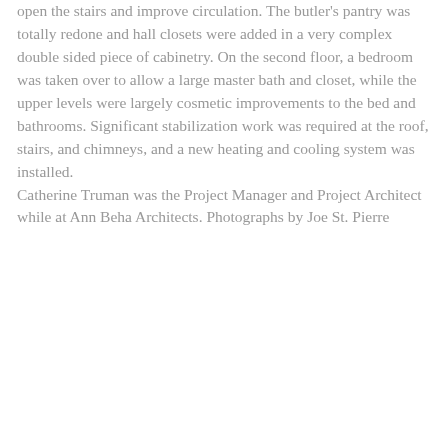open the stairs and improve circulation. The butler's pantry was totally redone and hall closets were added in a very complex double sided piece of cabinetry. On the second floor, a bedroom was taken over to allow a large master bath and closet, while the upper levels were largely cosmetic improvements to the bed and bathrooms. Significant stabilization work was required at the roof, stairs, and chimneys, and a new heating and cooling system was installed. Catherine Truman was the Project Manager and Project Architect while at Ann Beha Architects. Photographs by Joe St. Pierre